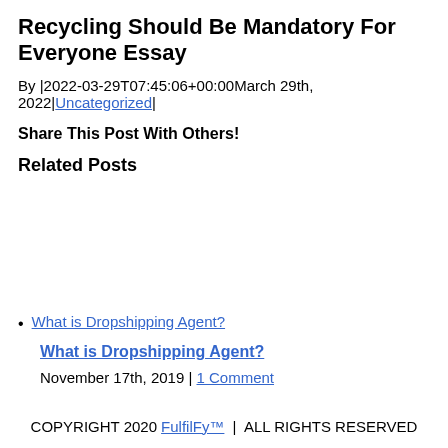Recycling Should Be Mandatory For Everyone Essay
By |2022-03-29T07:45:06+00:00March 29th, 2022|Uncategorized|
Share This Post With Others!
Related Posts
What is Dropshipping Agent?
What is Dropshipping Agent?
November 17th, 2019 | 1 Comment
COPYRIGHT 2020 FulfilFy™  |  ALL RIGHTS RESERVED